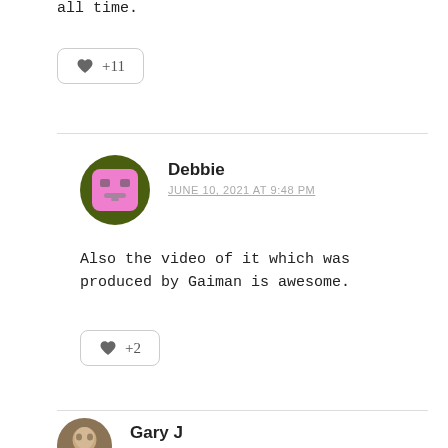all time.
[Figure (other): Like button showing heart icon and +11]
Debbie
JUNE 10, 2021 AT 9:48 PM
[Figure (illustration): Avatar: pink square cartoon face with olive green circular border]
Also the video of it which was produced by Gaiman is awesome.
[Figure (other): Like button showing heart icon and +2]
Gary J
[Figure (photo): Avatar: photo of Gary J]